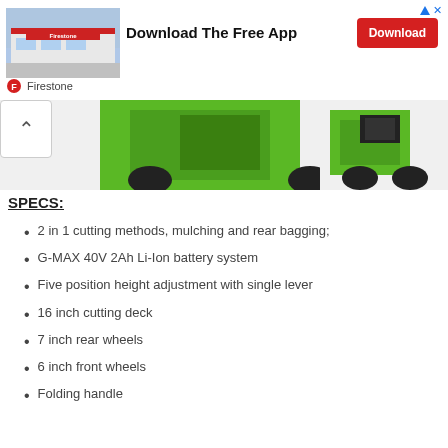[Figure (infographic): Firestone store advertisement banner with store photo on left, bold text 'Download The Free App' in center, red Download button on right, small close/triangle icon top right, Firestone logo and brand name below]
[Figure (photo): Partial product image strip showing green lawn mower from above, with a chevron/up arrow navigation button on left side]
SPECS:
2 in 1 cutting methods, mulching and rear bagging;
G-MAX 40V 2Ah Li-Ion battery system
Five position height adjustment with single lever
16 inch cutting deck
7 inch rear wheels
6 inch front wheels
Folding handle